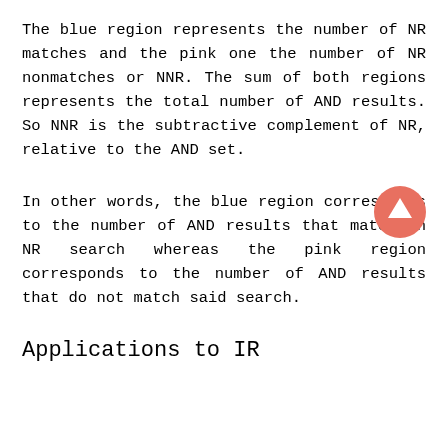The blue region represents the number of NR matches and the pink one the number of NR nonmatches or NNR. The sum of both regions represents the total number of AND results. So NNR is the subtractive complement of NR, relative to the AND set.
In other words, the blue region corresponds to the number of AND results that match an NR search whereas the pink region corresponds to the number of AND results that do not match said search.
Applications to IR